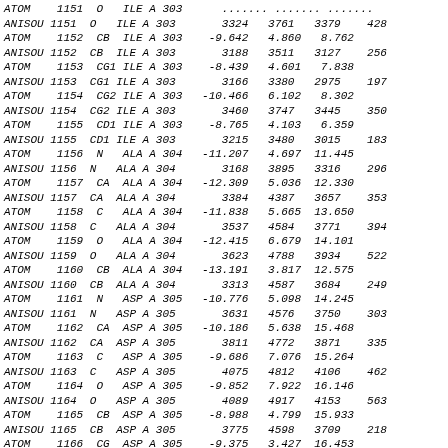| Record | Num | Atom | Res | Chain | ResNum | Col1 | Col2 | Col3 | Col4 |
| --- | --- | --- | --- | --- | --- | --- | --- | --- | --- |
| ATOM | 1151 | O | ILE | A | 303 | ... | ... | ... | ... |
| ANISOU | 1151 | O | ILE | A | 303 | 3324 | 3761 | 3379 | 428 |
| ATOM | 1152 | CB | ILE | A | 303 | -9.642 | 4.860 | 8.762 |  |
| ANISOU | 1152 | CB | ILE | A | 303 | 3188 | 3511 | 3127 | 256 |
| ATOM | 1153 | CG1 | ILE | A | 303 | -8.439 | 4.601 | 7.838 |  |
| ANISOU | 1153 | CG1 | ILE | A | 303 | 3166 | 3380 | 2975 | 197 |
| ATOM | 1154 | CG2 | ILE | A | 303 | -10.466 | 6.102 | 8.302 |  |
| ANISOU | 1154 | CG2 | ILE | A | 303 | 3460 | 3747 | 3445 | 350 |
| ATOM | 1155 | CD1 | ILE | A | 303 | -8.765 | 4.103 | 6.359 |  |
| ANISOU | 1155 | CD1 | ILE | A | 303 | 3215 | 3480 | 3015 | 183 |
| ATOM | 1156 | N | ALA | A | 304 | -11.207 | 4.697 | 11.445 |  |
| ANISOU | 1156 | N | ALA | A | 304 | 3168 | 3895 | 3316 | 296 |
| ATOM | 1157 | CA | ALA | A | 304 | -12.309 | 5.036 | 12.330 |  |
| ANISOU | 1157 | CA | ALA | A | 304 | 3384 | 4387 | 3657 | 353 |
| ATOM | 1158 | C | ALA | A | 304 | -11.838 | 5.665 | 13.650 |  |
| ANISOU | 1158 | C | ALA | A | 304 | 3537 | 4584 | 3771 | 394 |
| ATOM | 1159 | O | ALA | A | 304 | -12.415 | 6.679 | 14.101 |  |
| ANISOU | 1159 | O | ALA | A | 304 | 3623 | 4788 | 3934 | 522 |
| ATOM | 1160 | CB | ALA | A | 304 | -13.191 | 3.817 | 12.575 |  |
| ANISOU | 1160 | CB | ALA | A | 304 | 3313 | 4587 | 3684 | 249 |
| ATOM | 1161 | N | ASP | A | 305 | -10.776 | 5.098 | 14.245 |  |
| ANISOU | 1161 | N | ASP | A | 305 | 3631 | 4576 | 3750 | 303 |
| ATOM | 1162 | CA | ASP | A | 305 | -10.186 | 5.638 | 15.468 |  |
| ANISOU | 1162 | CA | ASP | A | 305 | 3811 | 4772 | 3871 | 335 |
| ATOM | 1163 | C | ASP | A | 305 | -9.686 | 7.076 | 15.264 |  |
| ANISOU | 1163 | C | ASP | A | 305 | 4075 | 4812 | 4106 | 462 |
| ATOM | 1164 | O | ASP | A | 305 | -9.852 | 7.922 | 16.146 |  |
| ANISOU | 1164 | O | ASP | A | 305 | 4089 | 4917 | 4153 | 563 |
| ATOM | 1165 | CB | ASP | A | 305 | -8.988 | 4.799 | 15.933 |  |
| ANISOU | 1165 | CB | ASP | A | 305 | 3775 | 4598 | 3709 | 218 |
| ATOM | 1166 | CG | ASP | A | 305 | -9.375 | 3.427 | 16.453 |  |